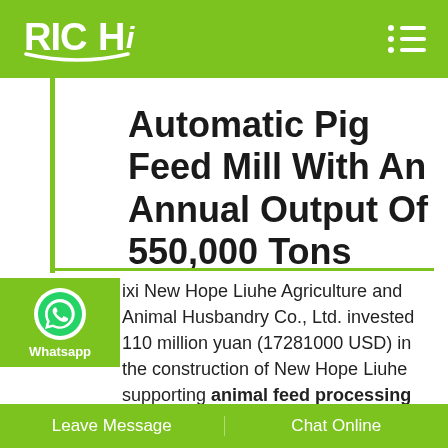RICHI
Automatic Pig Feed Mill With An Annual Output Of 550,000 Tons
[Figure (logo): WhatsApp green circle icon with phone handset]
ixi New Hope Liuhe Agriculture and Animal Husbandry Co., Ltd. invested 110 million yuan (17281000 USD) in the construction of New Hope Liuhe supporting animal feed processing project. This fully automatic large scale animal feed making plant project is one of the local EU standard pig industry integration construction
Leave Message	Chat Online